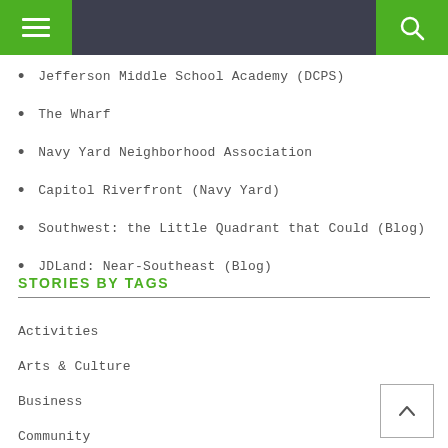Navigation bar with menu and search
Jefferson Middle School Academy (DCPS)
The Wharf
Navy Yard Neighborhood Association
Capitol Riverfront (Navy Yard)
Southwest: the Little Quadrant that Could (Blog)
JDLand: Near-Southeast (Blog)
STORIES BY TAGS
Activities
Arts & Culture
Business
Community
Development